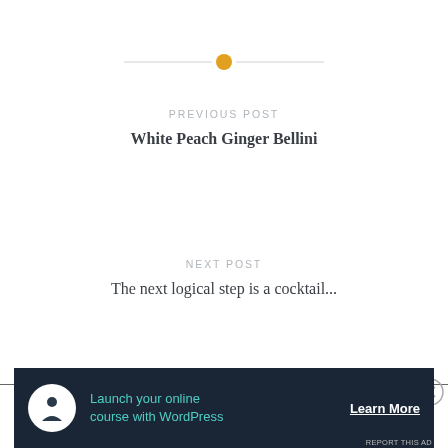[Figure (other): Horizontal divider with an orange/gold circle in the center and thin grey lines on either side]
PREVIOUS POST
White Peach Ginger Bellini
NEXT POST
The next logical step is a cocktail...
Advertisements
[Figure (infographic): Advertisement banner: dark navy background with a white circle icon showing a person/tree silhouette, teal text 'Launch your online course with WordPress', and a white underlined 'Learn More' button on the right.]